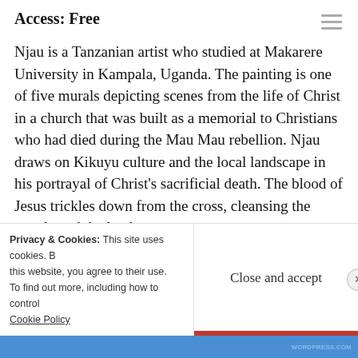Access: Free
Njau is a Tanzanian artist who studied at Makarere University in Kampala, Uganda. The painting is one of five murals depicting scenes from the life of Christ in a church that was built as a memorial to Christians who had died during the Mau Mau rebellion. Njau draws on Kikuyu culture and the local landscape in his portrayal of Christ’s sacrificial death. The blood of Jesus trickles down from the cross, cleansing the people and the land.
Privacy & Cookies: This site uses cookies. By continuing to use this website, you agree to their use. To find out more, including how to control cookies, see here: Cookie Policy
Close and accept